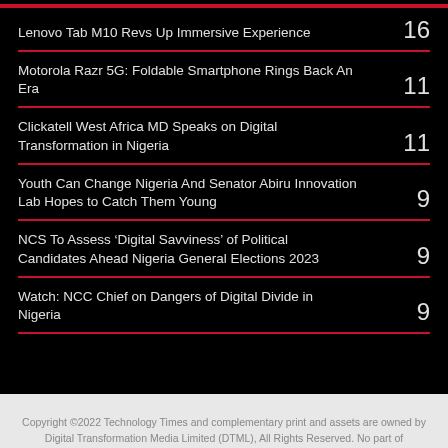Lenovo Tab M10 Revs Up Immersive Experience	16
Motorola Razr 5G: Foldable Smartphone Rings Back An Era	11
Clickatell West Africa MD Speaks on Digital Transformation in Nigeria	11
Youth Can Change Nigeria And Senator Abiru Innovation Lab Hopes to Catch Them Young	9
NCS To Assess ‘Digital Savviness’ of Political Candidates Ahead Nigeria General Elections 2023	9
Watch: NCC Chief on Dangers of Digital Divide in Nigeria	9
Copyright ©2022 Technology Times and complementary print and assets are owned by Digital Transformation Media Limited (DTML), All Rights Reserved. No part of Technology Times content shall be republished in whatever format without the written permission of Digital Transformation Media Limited (DTML).